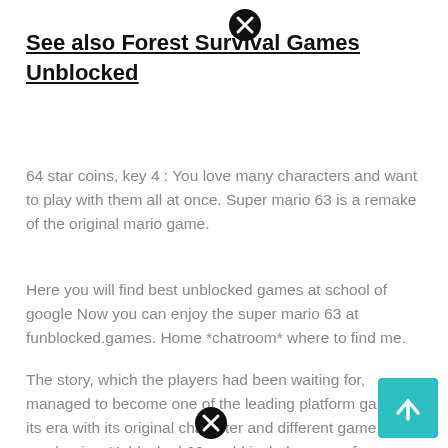See also  Forest Survival Games Unblocked
64 star coins, key 4 : You love many characters and want to play with them all at once. Super mario 63 is a remake of the original mario game.
Here you will find best unblocked games at school of google Now you can enjoy the super mario 63 at funblocked.games. Home *chatroom* where to find me.
The story, which the players had been waiting for, managed to become one of the leading platform games of its era with its original character and different game mechanics. Unblocked 66 world includes many free games that you may enjoy. Super mario 63 hacked here.